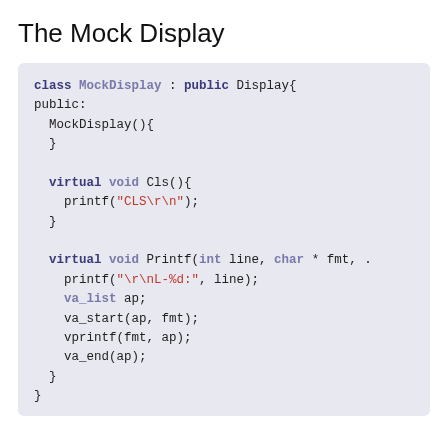The Mock Display
class MockDisplay : public Display{
public:
  MockDisplay(){
  }

  virtual void Cls(){
    printf("CLS\r\n");
  }

  virtual void Printf(int line, char * fmt, .
    printf("\r\nL-%d:", line);
    va_list ap;
    va_start(ap, fmt);
    vprintf(fmt, ap);
    va_end(ap);
  }
}